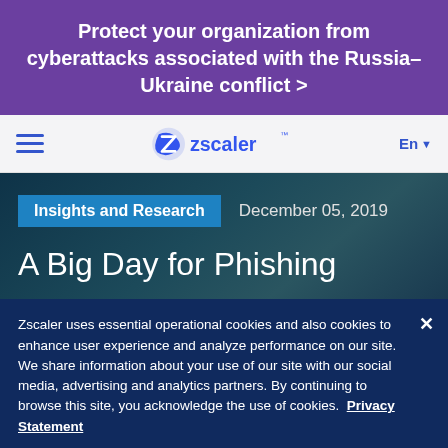Protect your organization from cyberattacks associated with the Russia–Ukraine conflict >
[Figure (logo): Zscaler logo with hamburger menu and language selector (En) in navigation bar]
Insights and Research   December 05, 2019
A Big Day for Phishing
Zscaler uses essential operational cookies and also cookies to enhance user experience and analyze performance on our site. We share information about your use of our site with our social media, advertising and analytics partners. By continuing to browse this site, you acknowledge the use of cookies.  Privacy Statement
Cookies Settings